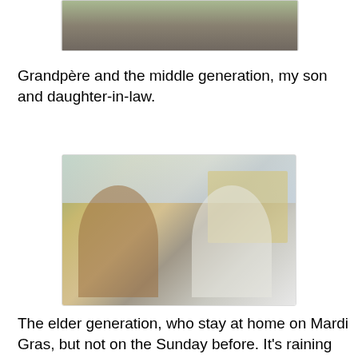[Figure (photo): Partial photo at top of page showing two people outdoors, cropped]
Grandpère and the middle generation, my son and daughter-in-law.
[Figure (photo): Two people posing outdoors in front of a yellow building. The man on the left wears a blue LSU cap and brown jacket; the woman on the right has white hair, sunglasses, and a white Mardi Gras sweatshirt with beads.]
The elder generation, who stay at home on Mardi Gras, but not on the Sunday before. It's raining here today. I hope it's not raining in New Orleans and in the other cities which have